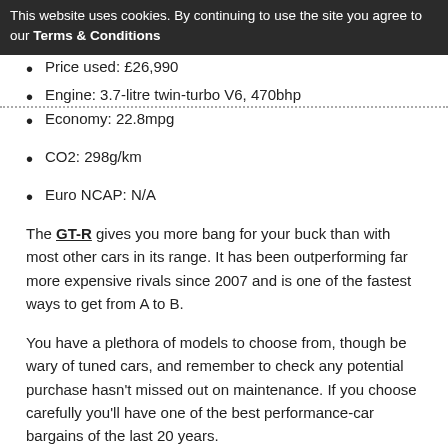This website uses cookies. By continuing to use the site you agree to our Terms & Conditions
Price used: £26,990
Engine: 3.7-litre twin-turbo V6, 470bhp
Economy: 22.8mpg
CO2: 298g/km
Euro NCAP: N/A
The GT-R gives you more bang for your buck than with most other cars in its range. It has been outperforming far more expensive rivals since 2007 and is one of the fastest ways to get from A to B.
You have a plethora of models to choose from, though be wary of tuned cars, and remember to check any potential purchase hasn't missed out on maintenance. If you choose carefully you'll have one of the best performance-car bargains of the last 20 years.
Porsche 911